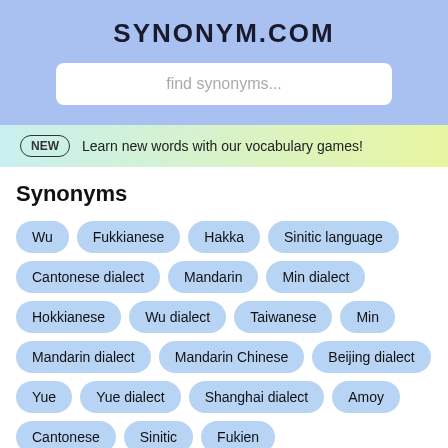SYNONYM.COM
find synonyms...
NEW  Learn new words with our vocabulary games!
Synonyms
Wu
Fukkianese
Hakka
Sinitic language
Cantonese dialect
Mandarin
Min dialect
Hokkianese
Wu dialect
Taiwanese
Min
Mandarin dialect
Mandarin Chinese
Beijing dialect
Yue
Yue dialect
Shanghai dialect
Amoy
Cantonese
Sinitic
Fukien